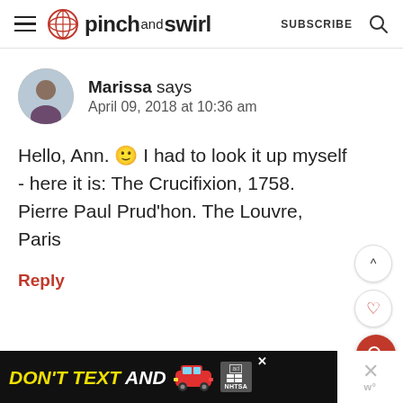pinch and swirl — SUBSCRIBE
Marissa says
April 09, 2018 at 10:36 am
Hello, Ann. 🙂 I had to look it up myself - here it is: The Crucifixion, 1758. Pierre Paul Prud'hon. The Louvre, Paris
Reply
[Figure (other): Advertisement banner: DON'T TEXT AND [car image] ad NHTSA]